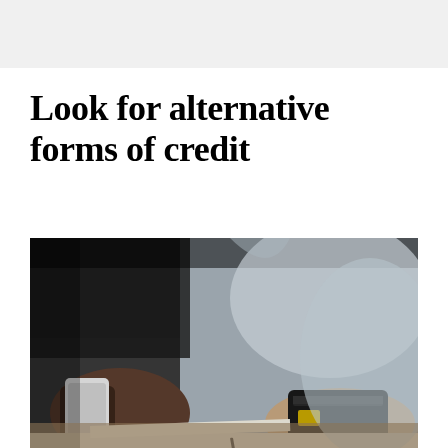Look for alternative forms of credit
[Figure (photo): A man sitting at a desk holding a smartphone in one hand and a credit card in the other, with papers on the desk in front of him. He is wearing a light grey checked shirt.]